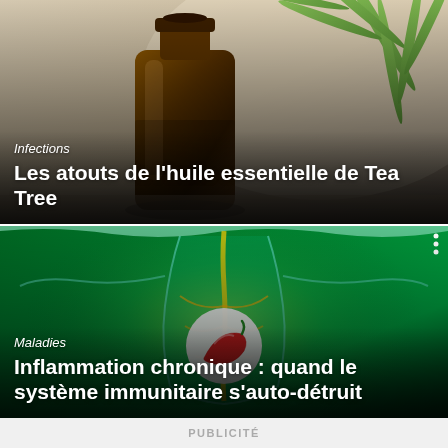[Figure (photo): Close-up of an amber essential oil bottle with tea tree leaves in the background, warm natural tones]
Infections
Les atouts de l'huile essentielle de Tea Tree
[Figure (photo): 3D medical illustration of transparent human body showing nervous/vascular system on green glowing background, with a white oval pill icon showing a red chili pepper]
Maladies
Inflammation chronique : quand le système immunitaire s'auto-détruit
PUBLICITÉ